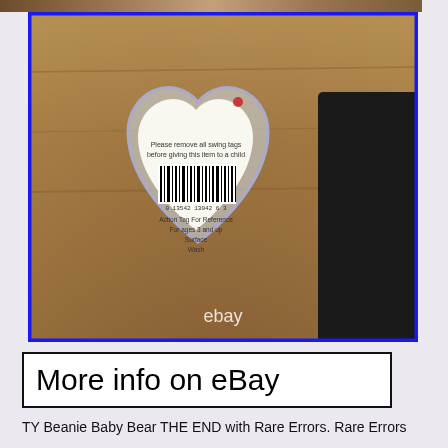[Figure (photo): Photo of a Beanie Baby heart-shaped tag protector (clear plastic heart case) showing the back of a TY tag with barcode, text reading 'Please remove all swing tags before giving this item to a child', 'Action Tag For Reference', 'For ages 3 and up', 'Surface', 'Wash'. The item sits on a wooden surface. Blue border around photo. eBay watermark at bottom of photo.]
More info on eBay
TY Beanie Baby Bear THE END with Rare Errors. Rare Errors